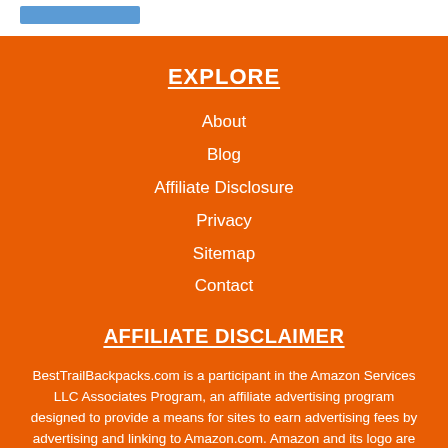EXPLORE
About
Blog
Affiliate Disclosure
Privacy
Sitemap
Contact
AFFILIATE DISCLAIMER
BestTrailBackpacks.com is a participant in the Amazon Services LLC Associates Program, an affiliate advertising program designed to provide a means for sites to earn advertising fees by advertising and linking to Amazon.com. Amazon and its logo are trademarks of Amazon.com, Inc or its affiliates.